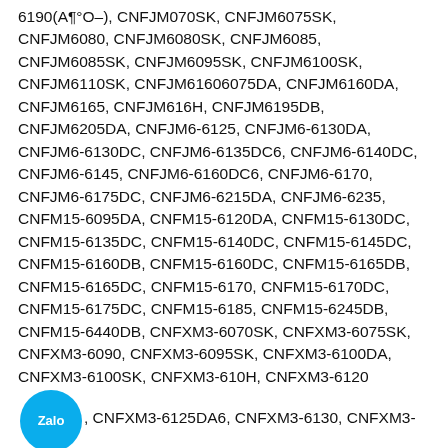6190(A¶°O–), CNFJM070SK, CNFJM6075SK, CNFJM6080, CNFJM6080SK, CNFJM6085, CNFJM6085SK, CNFJM6095SK, CNFJM6100SK, CNFJM6110SK, CNFJM61606075DA, CNFJM6160DA, CNFJM6165, CNFJM616H, CNFJM6195DB, CNFJM6205DA, CNFJM6-6125, CNFJM6-6130DA, CNFJM6-6130DC, CNFJM6-6135DC6, CNFJM6-6140DC, CNFJM6-6145, CNFJM6-6160DC6, CNFJM6-6170, CNFJM6-6175DC, CNFJM6-6215DA, CNFJM6-6235, CNFM15-6095DA, CNFM15-6120DA, CNFM15-6130DC, CNFM15-6135DC, CNFM15-6140DC, CNFM15-6145DC, CNFM15-6160DB, CNFM15-6160DC, CNFM15-6165DB, CNFM15-6165DC, CNFM15-6170, CNFM15-6170DC, CNFM15-6175DC, CNFM15-6185, CNFM15-6245DB, CNFM15-6440DB, CNFXM3-6070SK, CNFXM3-6075SK, CNFXM3-6090, CNFXM3-6095SK, CNFXM3-6100DA, CNFXM3-6100SK, CNFXM3-610H, CNFXM3-6120[Zalo], CNFXM3-6125DA6, CNFXM3-6130, CNFXM3-6130[Zalo], CNFXM3-6135DB, CNFXM3-6140DA, CNFXM3-6140[Zalo], CNFXM3-6145DA, CNFXM3-6145DB, CNFXM3-6160DB, CNFXM3-6160DC, CNFXM3-6170,